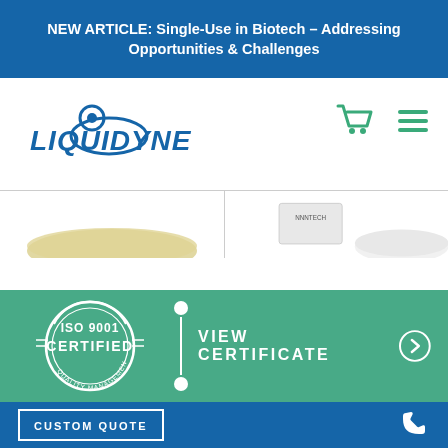NEW ARTICLE: Single-Use in Biotech – Addressing Opportunities & Challenges
[Figure (logo): Liquidyne company logo in blue with orbital swoosh graphic]
[Figure (illustration): Navigation icons: shopping cart and hamburger menu in green]
[Figure (photo): Product images strip showing membrane/filter disc products]
[Figure (infographic): ISO 9001 Certified Quality Management System badge in white on green background, with vertical divider line and VIEW CERTIFICATE button with arrow]
VIEW CERTIFICATE
CUSTOM QUOTE
[Figure (illustration): White phone icon on blue background]